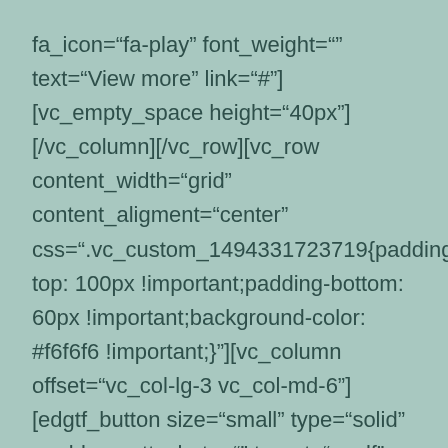fa_icon="fa-play" font_weight="" text="View more" link="#"][vc_empty_space height="40px"][/vc_column][/vc_row][vc_row content_width="grid" content_aligment="center" css=".vc_custom_1494331723719{padding-top: 100px !important;padding-bottom: 60px !important;background-color: #f6f6f6 !important;}"][vc_column offset="vc_col-lg-3 vc_col-md-6"][edgtf_button size="small" type="solid" enable_prettyphoto="" target="_self" icon_pack="" font_weight="" text="View more" link="#"][vc_empty_space